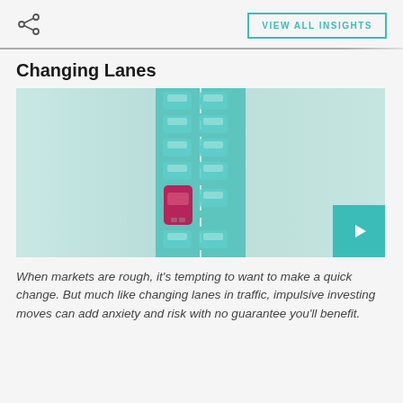VIEW ALL INSIGHTS
Changing Lanes
[Figure (illustration): Aerial/top-down animated illustration of a road with two lanes of teal/green cars moving in traffic, and one red/magenta car in the left lane. The scene appears to be from a video with a play button overlay in the bottom right corner.]
When markets are rough, it's tempting to want to make a quick change. But much like changing lanes in traffic, impulsive investing moves can add anxiety and risk with no guarantee you'll benefit.